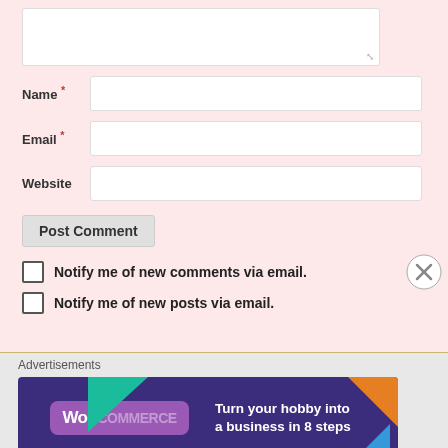[Figure (screenshot): Web comment form with fields for Name, Email, Website, a Post Comment button, and two notification checkboxes, on a pink background]
Name *
Email *
Website
Post Comment
Notify me of new comments via email.
Notify me of new posts via email.
Advertisements
[Figure (illustration): WooCommerce advertisement banner: Turn your hobby into a business in 8 steps]